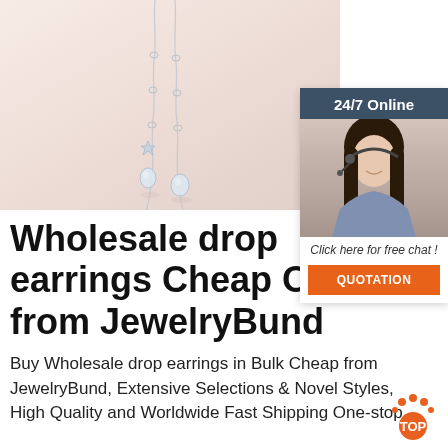[Figure (photo): Close-up photo of silver drop earrings with crystal pendants on a light peach/cream background]
[Figure (infographic): 24/7 Online chat widget showing a female customer service agent wearing a headset, with 'Click here for free chat!' text and an orange QUOTATION button]
Wholesale drop earrings Cheap Online from JewelryBund
Buy Wholesale drop earrings in Bulk Cheap from JewelryBund, Extensive Selections & Novel Styles, High Quality and Worldwide Fast Shipping One-stop